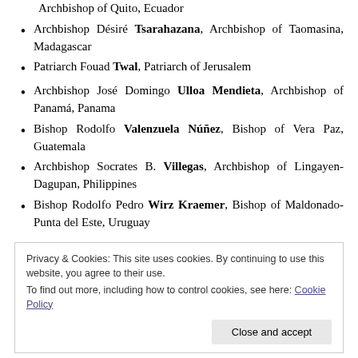Archbishop of Quito, Ecuador
Archbishop Désiré Tsarahazana, Archbishop of Taomasina, Madagascar
Patriarch Fouad Twal, Patriarch of Jerusalem
Archbishop José Domingo Ulloa Mendieta, Archbishop of Panamá, Panama
Bishop Rodolfo Valenzuela Núñez, Bishop of Vera Paz, Guatemala
Archbishop Socrates B. Villegas, Archbishop of Lingayen-Dagupan, Philippines
Bishop Rodolfo Pedro Wirz Kraemer, Bishop of Maldonado-Punta del Este, Uruguay
Privacy & Cookies: This site uses cookies. By continuing to use this website, you agree to their use.
To find out more, including how to control cookies, see here: Cookie Policy